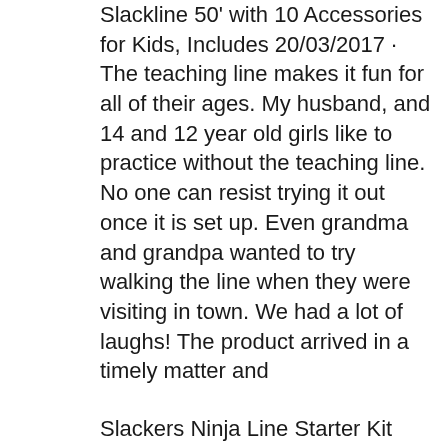Slackline 50' with 10 Accessories for Kids, Includes 20/03/2017 · The teaching line makes it fun for all of their ages. My husband, and 14 and 12 year old girls like to practice without the teaching line. No one can resist trying it out once it is set up. Even grandma and grandpa wanted to try walking the line when they were visiting in town. We had a lot of laughs! The product arrived in a timely matter and
Slackers Ninja Line Starter Kit Complet Slackline Escalade Hang elpar Cour Jeu 1. price 35 Slackline Kit avec des protecteurs d'arbre et sac de transport, 15m, facile à installer avec l'instructions, parfait pour les enfants et